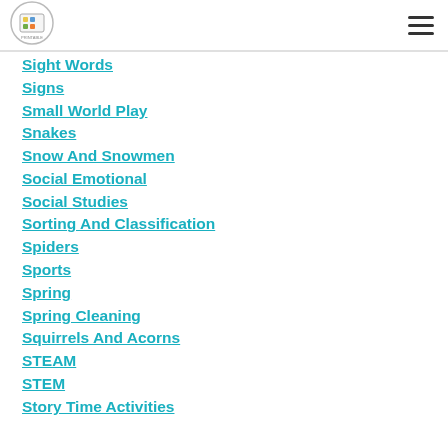[Figure (logo): Circular logo with illustrated printables icon]
Sight Words
Signs
Small World Play
Snakes
Snow And Snowmen
Social Emotional
Social Studies
Sorting And Classification
Spiders
Sports
Spring
Spring Cleaning
Squirrels And Acorns
STEAM
STEM
Story Time Activities